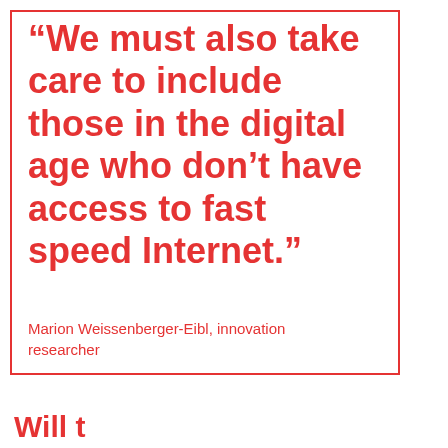“We must also take care to include those in the digital age who don’t have access to fast speed Internet.”
Marion Weissenberger-Eibl, innovation researcher
[Figure (infographic): Social media share icons: Twitter and Facebook in red circles overlapping the border, and a dark bar with Facebook, Twitter, email, and WhatsApp icons. Partial text 'Will t...' visible at bottom left.]